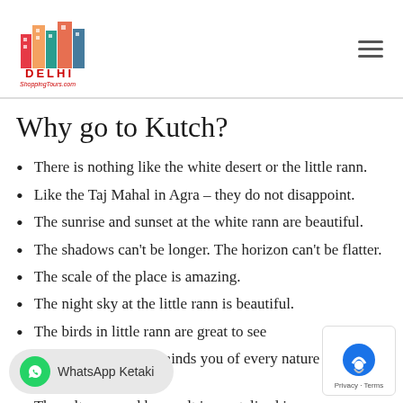ShoppingTours.com logo and navigation
Why go to Kutch?
There is nothing like the white desert or the little rann.
Like the Taj Mahal in Agra – they do not disappoint.
The sunrise and sunset at the white rann are beautiful.
The shadows can't be longer. The horizon can't be flatter.
The scale of the place is amazing.
The night sky at the little rann is beautiful.
The birds in little rann are great to see
The cracked earth reminds you of every nature of a drought ridden place
The salt pans and how salt is crystalised is